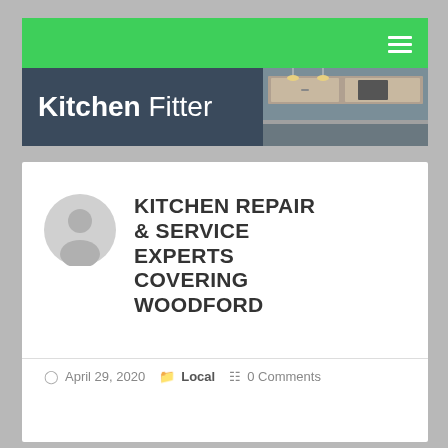Kitchen Fitter
KITCHEN REPAIR & SERVICE EXPERTS COVERING WOODFORD
April 29, 2020  Local  0 Comments